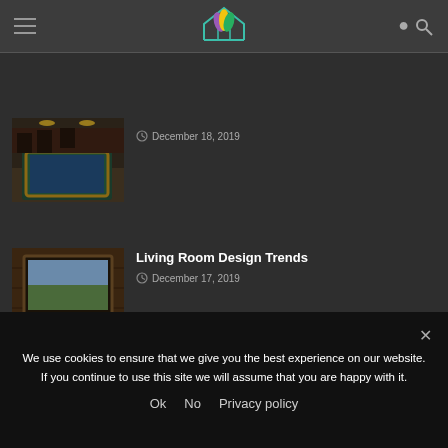[Figure (screenshot): Website header with hamburger menu, colorful house logo, and search icon]
[Figure (photo): Interior room with pool/billiard table and bar seating]
December 18, 2019
[Figure (photo): Home theater room with large projection screen in rustic wooden room]
Living Room Design Trends
December 17, 2019
We use cookies to ensure that we give you the best experience on our website. If you continue to use this site we will assume that you are happy with it.
Ok  No  Privacy policy